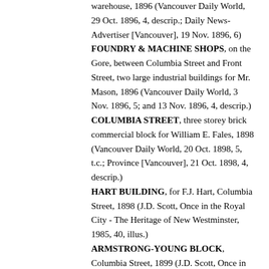warehouse, 1896 (Vancouver Daily World, 29 Oct. 1896, 4, descrip.; Daily News-Advertiser [Vancouver], 19 Nov. 1896, 6) FOUNDRY & MACHINE SHOPS, on the Gore, between Columbia Street and Front Street, two large industrial buildings for Mr. Mason, 1896 (Vancouver Daily World, 3 Nov. 1896, 5; and 13 Nov. 1896, 4, descrip.) COLUMBIA STREET, three storey brick commercial block for William E. Fales, 1898 (Vancouver Daily World, 20 Oct. 1898, 5, t.c.; Province [Vancouver], 21 Oct. 1898, 4, descrip.) HART BUILDING, for F.J. Hart, Columbia Street, 1898 (J.D. Scott, Once in the Royal City - The Heritage of New Westminster, 1985, 40, illus.) ARMSTRONG-YOUNG BLOCK, Columbia Street, 1899 (J.D. Scott, Once in the Royal City - The Heritage of New Westminster, 1985, 55, illus.) CHICHON HOTEL, Columbia Avenue...